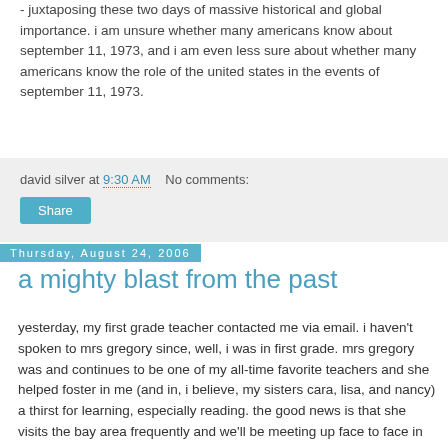- juxtaposing these two days of massive historical and global importance. i am unsure whether many americans know about september 11, 1973, and i am even less sure about whether many americans know the role of the united states in the events of september 11, 1973.
david silver at 9:30 AM   No comments:
Share
Thursday, August 24, 2006
a mighty blast from the past
yesterday, my first grade teacher contacted me via email. i haven't spoken to mrs gregory since, well, i was in first grade. mrs gregory was and continues to be one of my all-time favorite teachers and she helped foster in me (and in, i believe, my sisters cara, lisa, and nancy) a thirst for learning, especially reading. the good news is that she visits the bay area frequently and we'll be meeting up face to face in the